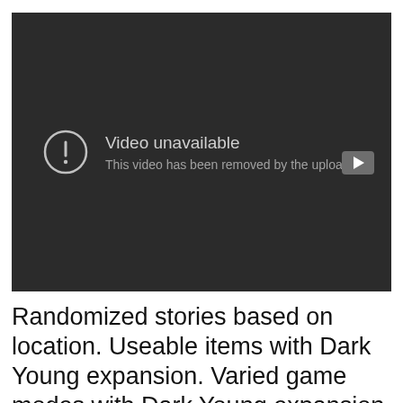[Figure (screenshot): Embedded video player showing 'Video unavailable - This video has been removed by the uploader' message on a dark background, with a YouTube play button icon in the bottom right corner.]
Randomized stories based on location. Useable items with Dark Young expansion. Varied game modes with Dark Young expansion. Community created content. Experience new stories from the community or create your own. Replayability and